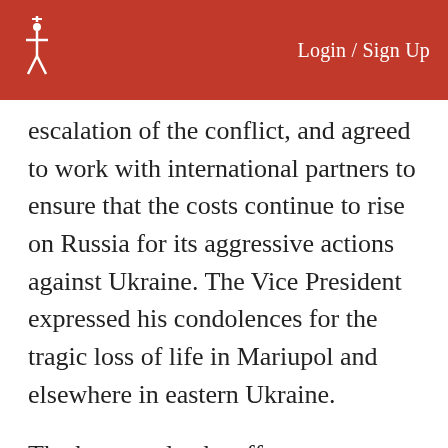Login / Sign Up
escalation of the conflict, and agreed to work with international partners to ensure that the costs continue to rise on Russia for its aggressive actions against Ukraine. The Vice President expressed his condolences for the tragic loss of life in Mariupol and elsewhere in eastern Ukraine.
The key words: the effort to ensure that